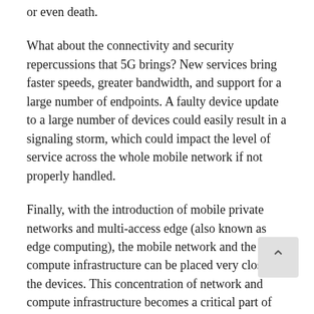or even death.
What about the connectivity and security repercussions that 5G brings? New services bring faster speeds, greater bandwidth, and support for a large number of endpoints. A faulty device update to a large number of devices could easily result in a signaling storm, which could impact the level of service across the whole mobile network if not properly handled.
Finally, with the introduction of mobile private networks and multi-access edge (also known as edge computing), the mobile network and the compute infrastructure can be placed very close to the devices. This concentration of network and compute infrastructure becomes a critical part of the production environment, and protecting it is paramount.
The result of all of these factors demonstrates that devices and critical infrastructure may soon become a